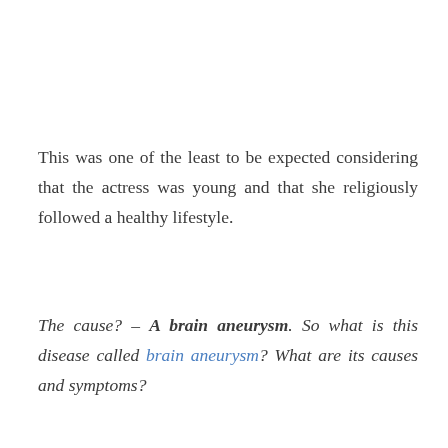This was one of the least to be expected considering that the actress was young and that she religiously followed a healthy lifestyle.
The cause? – A brain aneurysm. So what is this disease called brain aneurysm? What are its causes and symptoms?